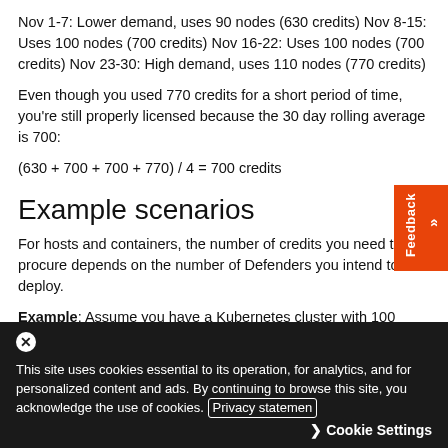Nov 1-7: Lower demand, uses 90 nodes (630 credits) Nov 8-15: Uses 100 nodes (700 credits) Nov 16-22: Uses 100 nodes (700 credits) Nov 23-30: High demand, uses 110 nodes (770 credits)
Even though you used 770 credits for a short period of time, you're still properly licensed because the 30 day rolling average is 700:
Example scenarios
For hosts and containers, the number of credits you need to procure depends on the number of Defenders you intend to deploy.
Example: Assume you have a Kubernetes cluster with 100
This site uses cookies essential to its operation, for analytics, and for personalized content and ads. By continuing to browse this site, you acknowledge the use of cookies. Privacy statement
Cookie Settings